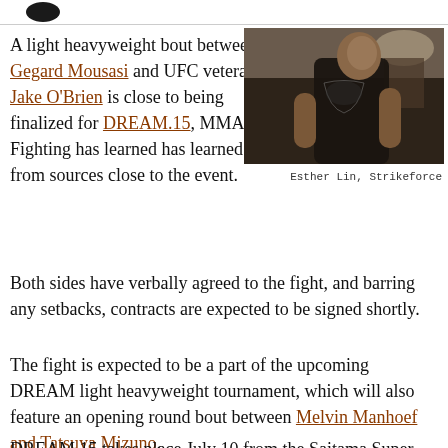A light heavyweight bout between Gegard Mousasi and UFC veteran Jake O'Brien is close to being finalized for DREAM.15, MMA Fighting has learned has learned from sources close to the event.
[Figure (photo): A male MMA fighter standing in a gym, wearing a black graphic t-shirt, photographed in a dark moody style.]
Esther Lin, Strikeforce
Both sides have verbally agreed to the fight, and barring any setbacks, contracts are expected to be signed shortly.
The fight is expected to be a part of the upcoming DREAM light heavyweight tournament, which will also feature an opening round bout between Melvin Manhoef and Tatsuya Mizuno.
DREAM.15 takes place July 10 from the Saitama Super Arena